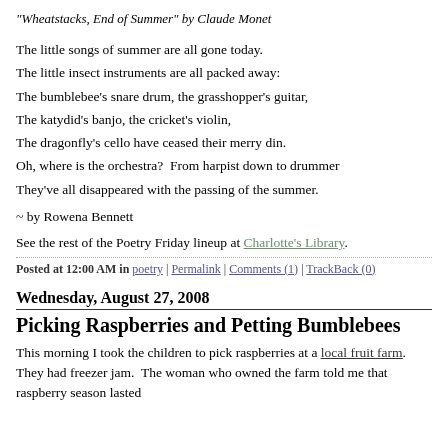"Wheatstacks, End of Summer" by Claude Monet
The little songs of summer are all gone today.
The little insect instruments are all packed away:
The bumblebee's snare drum, the grasshopper's guitar,
The katydid's banjo, the cricket's violin,
The dragonfly's cello have ceased their merry din.
Oh, where is the orchestra?  From harpist down to drummer
They've all disappeared with the passing of the summer.
~ by Rowena Bennett
See the rest of the Poetry Friday lineup at Charlotte's Library.
Posted at 12:00 AM in poetry | Permalink | Comments (1) | TrackBack (0)
Wednesday, August 27, 2008
Picking Raspberries and Petting Bumblebees
This morning I took the children to pick raspberries at a local fruit farm.  They had freezer jam.  The woman who owned the farm told me that raspberry season lasted